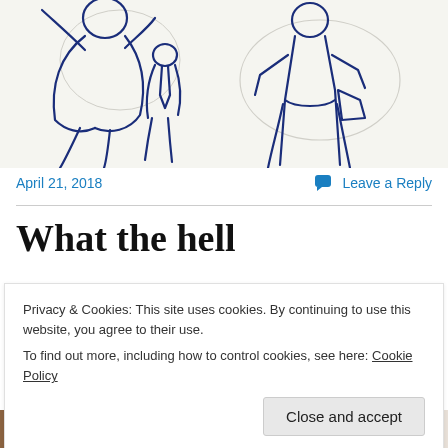[Figure (illustration): Hand-drawn blue ink sketch of figures/people on white paper, partially visible at top of page]
April 21, 2018
Leave a Reply
What the hell
Privacy & Cookies: This site uses cookies. By continuing to use this website, you agree to their use.
To find out more, including how to control cookies, see here: Cookie Policy
Close and accept
[Figure (illustration): Bottom strip showing partial view of another blue ink sketch on brown/tan background]